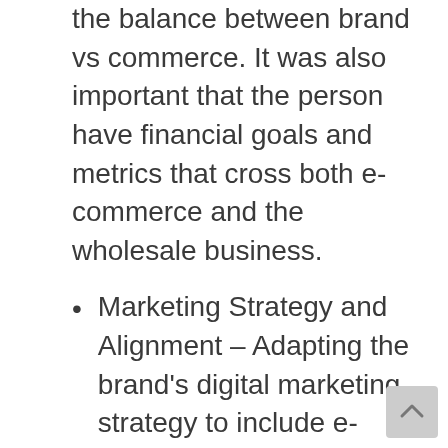the balance between brand vs commerce. It was also important that the person have financial goals and metrics that cross both e-commerce and the wholesale business.
Marketing Strategy and Alignment – Adapting the brand's digital marketing strategy to include e-commerce was a critical component of their success. Historically, the company's marketing department was heavily focused on activities centered around driving brand awareness. DigMEE